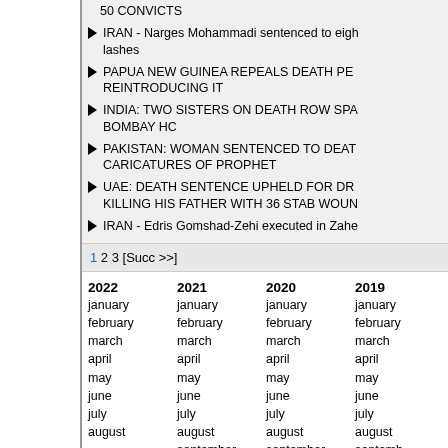50 CONVICTS
IRAN - Narges Mohammadi sentenced to eight lashes
PAPUA NEW GUINEA REPEALS DEATH PENALTY BEFORE REINTRODUCING IT
INDIA: TWO SISTERS ON DEATH ROW SPARED BY BOMBAY HC
PAKISTAN: WOMAN SENTENCED TO DEATH FOR CARICATURES OF PROPHET
UAE: DEATH SENTENCE UPHELD FOR DR KILLING HIS FATHER WITH 36 STAB WOUNDS
IRAN - Edris Gomshad-Zehi executed in Zahe
1 2 3 [Succ >>]
| 2022 | 2021 | 2020 | 2019 |
| --- | --- | --- | --- |
| january | january | january | january |
| february | february | february | february |
| march | march | march | march |
| april | april | april | april |
| may | may | may | may |
| june | june | june | june |
| july | july | july | july |
| august | august | august | august |
|  | september | september | september |
|  | october | october | october |
|  | november | november | november |
|  | december | december | december |
| 2017 | 2016 | 2015 | 2014 |
| --- | --- | --- | --- |
| january | january | january | january |
| february | february | february | february |
| march | march | march | march |
| april | april | april | april |